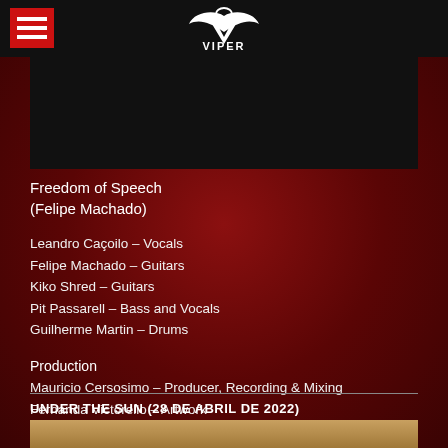VIPER (logo)
[Figure (photo): Black image area, likely album art or band photo background]
Freedom of Speech
(Felipe Machado)
Leandro Caçoilo – Vocals
Felipe Machado – Guitars
Kiko Shred – Guitars
Pit Passarell – Bass and Vocals
Guilherme Martin – Drums
Production
Mauricio Cersosimo – Producer, Recording & Mixing
Fernanda Victorello – Artwork
UNDER THE SUN (28 DE ABRIL DE 2022)
[Figure (photo): Bottom strip of album artwork, brown/golden tones]